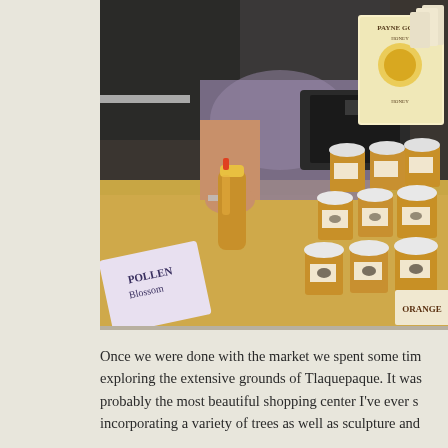[Figure (photo): A person at an outdoor farmers market honey vendor stall. The table is covered with jars of honey with white lids bearing bee labels, and a squeeze bottle of honey with a yellow top. Signs in the foreground read 'POLLEN Blossom' and 'ORANGE'. A branded sign in the upper right reads 'PAYNE GOLD HONEY'. The table surface has a sandy/honeycomb texture.]
Once we were done with the market we spent some time exploring the extensive grounds of Tlaquepaque. It was probably the most beautiful shopping center I've ever s incorporating a variety of trees as well as sculpture and